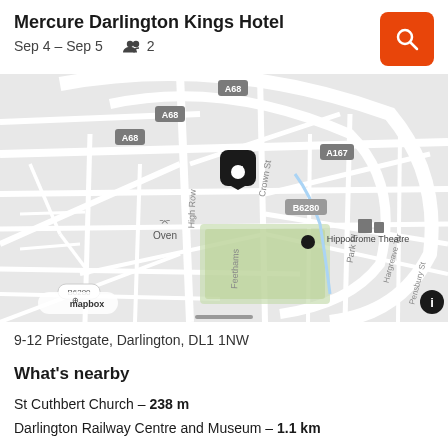Mercure Darlington Kings Hotel
Sep 4 – Sep 5   👥 2
[Figure (map): Street map of Darlington showing hotel location marker on High Row near Crown St, with roads A68, A167, B6280 labeled, Hippodrome Theatre and Oven restaurant visible, Feethams area with green space, Mapbox attribution at bottom left]
9-12 Priestgate, Darlington, DL1 1NW
What's nearby
St Cuthbert Church – 238 m
Darlington Railway Centre and Museum – 1.1 km